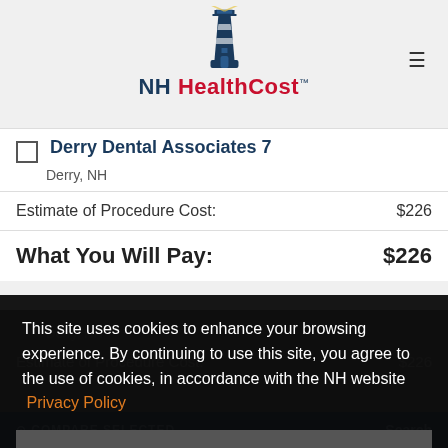[Figure (logo): NH HealthCost lighthouse logo with text]
Derry Dental Associates 7
Derry, NH
Estimate of Procedure Cost: $226
What You Will Pay: $226
This site uses cookies to enhance your browsing experience. By continuing to use this site, you agree to the use of cookies, in accordance with the NH website Privacy Policy
OK ✓
Estimate of Procedure Cost: $226
COMPARE SELECTED | Search